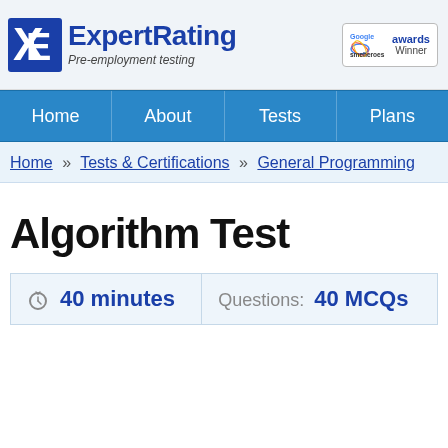[Figure (logo): ExpertRating logo with blue X/E icon and 'Pre-employment testing' tagline, plus Google SME Heroes Awards Winner badge]
[Figure (infographic): Navigation bar with Home, About, Tests, Plans items on blue background]
Home » Tests & Certifications » General Programming
Algorithm Test
| 40 minutes | Questions: 40 MCQs |